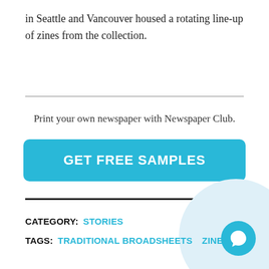in Seattle and Vancouver housed a rotating line-up of zines from the collection.
Print your own newspaper with Newspaper Club.
[Figure (other): Cyan/turquoise button with white bold text reading GET FREE SAMPLES, rounded corners]
CATEGORY:  STORIES
TAGS:  TRADITIONAL BROADSHEETS   ZINES
[Figure (other): Light blue circle background in bottom-right corner with a cyan circular chat bubble icon button]